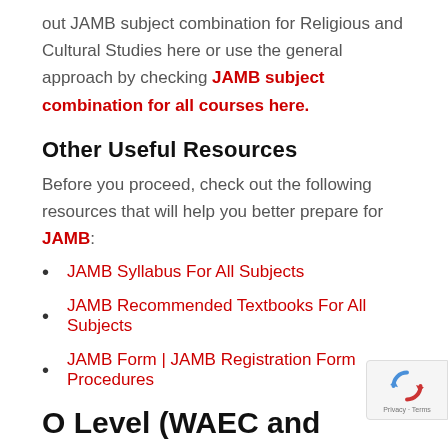out JAMB subject combination for Religious and Cultural Studies here or use the general approach by checking JAMB subject combination for all courses here.
Other Useful Resources
Before you proceed, check out the following resources that will help you better prepare for JAMB:
JAMB Syllabus For All Subjects
JAMB Recommended Textbooks For All Subjects
JAMB Form | JAMB Registration Form Procedures
O Level (WAEC and NECO) Subject Requirements For Religious and